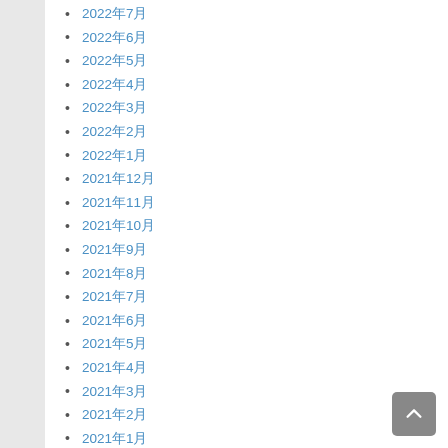2022年7月
2022年6月
2022年5月
2022年4月
2022年3月
2022年2月
2022年1月
2021年12月
2021年11月
2021年10月
2021年9月
2021年8月
2021年7月
2021年6月
2021年5月
2021年4月
2021年3月
2021年2月
2021年1月
2020年12月
2020年11月
2020年10月
2020年9月